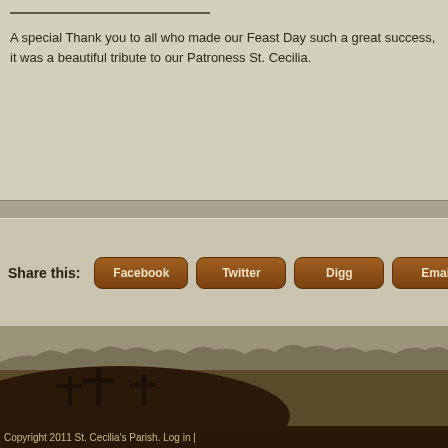A special Thank you to all who made our Feast Day such a great success, it was a beautiful tribute to our Patroness St. Cecilia.
Share this:
[Figure (illustration): Website social sharing buttons: Facebook, Twitter, Digg, Email]
[Figure (illustration): Sepia-toned landscape illustration with hill silhouette bearing three crosses in the foreground, tree line silhouette in background against muted sky]
Copyright 2011 St. Cecilia's Parish.  Log in |